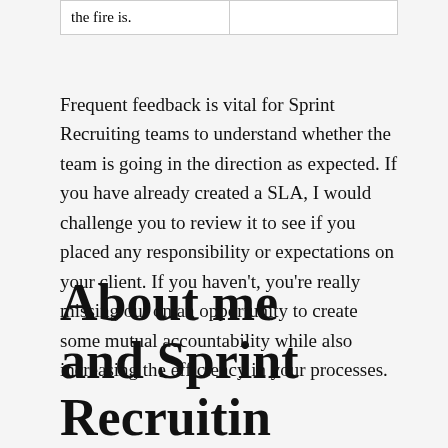| the fire is. |  |
Frequent feedback is vital for Sprint Recruiting teams to understand whether the team is going in the direction as expected. If you have already created a SLA, I would challenge you to review it to see if you placed any responsibility or expectations on your client. If you haven't, you're really missing out on an opportunity to create some mutual accountability while also increasing the efficiency in your processes.
About me and Sprint Recruitin